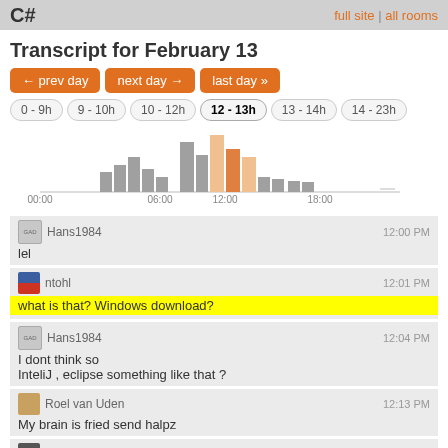C# | full site | all rooms
Transcript for February 13
← prev day  next day →  last day »
0 - 9h  9 - 10h  10 - 12h  12 - 13h  13 - 14h  14 - 23h
[Figure (histogram): Message activity]
Hans1984
12:00 PM
lel
ntohl
12:01 PM
what is that? Windows download?
Hans1984
12:04 PM
I dont think so
InteliJ , eclipse something like that ?
Roel van Uden
12:13 PM
My brain is fried send halpz
MwBakker
12:15 PM